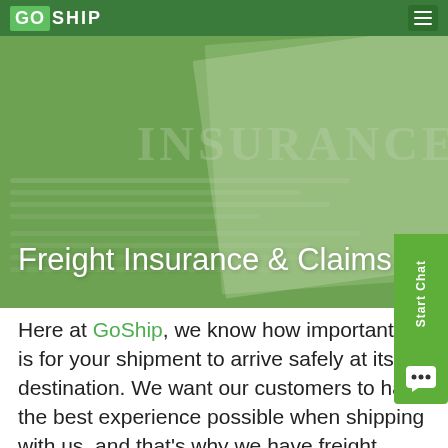GoShip
Freight Insurance & Claims
[Figure (photo): Hero banner showing an insurance document with a green tinted overlay and the word INSURANCE visible in the background]
Here at GoShip, we know how important it is for your shipment to arrive safely at its destination. We want our customers to have the best experience possible when shipping with us, and that's why we have freight insurance options available to you. It'll guarantee your goods are covered in any circumstances and facilitate the